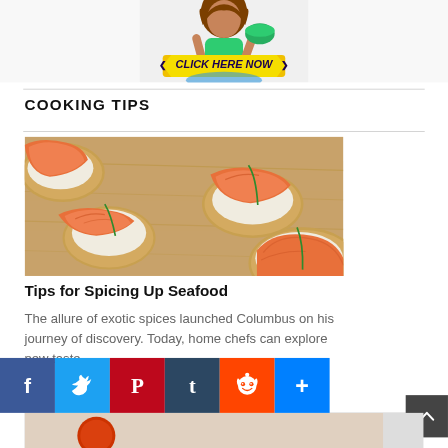[Figure (photo): Top portion of advertisement showing a woman in green top holding a bowl, with a yellow 'CLICK HERE NOW' button]
COOKING TIPS
[Figure (photo): Photo of smoked salmon on crackers with cream cheese and chives on a wooden board]
Tips for Spicing Up Seafood
The allure of exotic spices launched Columbus on his journey of discovery. Today, home chefs can explore new taste....
[Figure (infographic): Social sharing buttons: Facebook (blue), Twitter (blue), Pinterest (red), Tumblr (dark teal), Reddit (orange-red), More (blue plus)]
[Figure (other): Scroll to top button (dark gray square with up chevron) in bottom right corner]
[Figure (photo): Partial bottom image beginning to appear]